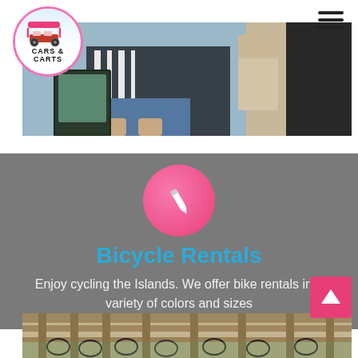[Figure (logo): Cars & Carts circular logo with pink/magenta border, showing a pink golf cart on light blue background with text CARS & CARTS]
[Figure (photo): Hero photo of a person sitting in a golf cart, wearing a black and white patterned top and denim shorts]
[Figure (infographic): Gray section with pink circle icon containing a pencil, heading Bicycle Rentals, and descriptive text]
Bicycle Rentals
Enjoy cycling the Islands. We offer bike rentals in a variety of colors and sizes
[Figure (photo): Bottom photo showing bicycles stored under a wooden pergola structure]